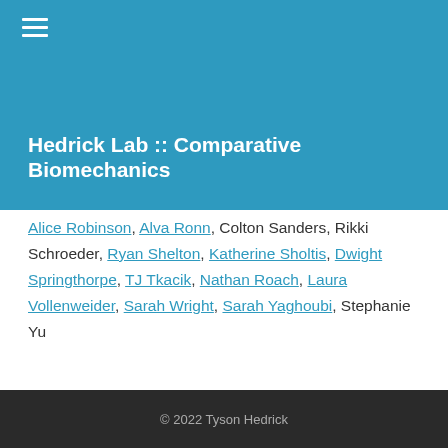Hedrick Lab :: Comparative Biomechanics
Alice Robinson, Alva Ronn, Colton Sanders, Rikki Schroeder, Ryan Shelton, Katherine Sholtis, Dwight Springthorpe, TJ Tkacik, Nathan Roach, Laura Vollenweider, Sarah Wright, Sarah Yaghoubi, Stephanie Yu
© 2022 Tyson Hedrick